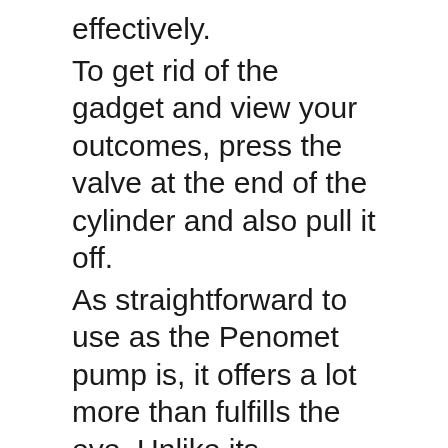effectively.
To get rid of the gadget and view your outcomes, press the valve at the end of the cylinder and also pull it off.
As straightforward to use as the Penomet pump is, it offers a lot more than fulfills the eye. Unlike its competitors, this hydro pump can be utilized in the shower, bathtub, or in the traditional fashion. The penis pump develops an ideal vacuum cleaner that constantly gives the best outcomes thanks to its cutting edge AquaPressure system.
Paloqueth Penis Pump
Because of the pump cyndrical tube’s high-quality polycarbonate plastic construction, it is practically indestructible. The gaiters, on